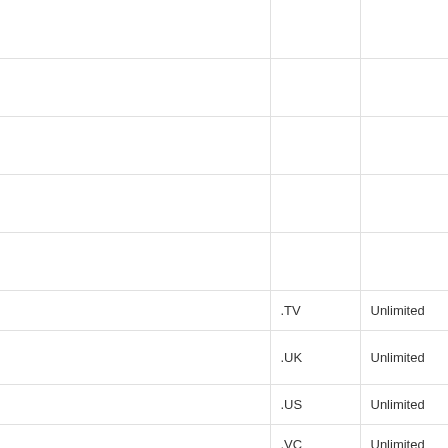|  |  |  |
| .TV | Unlimited |  |
| .UK | Unlimited |  |
| .US | Unlimited |  |
| .VC | Unlimited |  |
| .WEB.IN | Not |  |